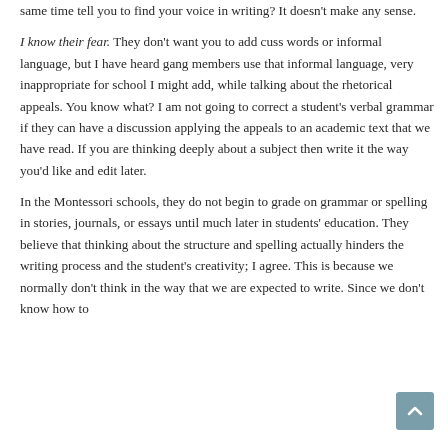same time tell you to find your voice in writing?  It doesn't make any sense.
I know their fear.  They don't want you to add cuss words or informal language, but I have heard gang members use that informal language, very inappropriate for school I might add, while talking about the rhetorical appeals.  You know what?  I am not going to correct a student's verbal grammar if they can have a discussion applying the appeals to an academic text that we have read.  If you are thinking deeply about a subject then write it the way you'd like and edit later.
In the Montessori schools, they do not begin to grade on grammar or spelling in stories, journals, or essays until much later in students' education.  They believe that thinking about the structure and spelling actually hinders the writing process and the student's creativity; I agree.  This is because we normally don't think in the way that we are expected to write.  Since we don't know how to